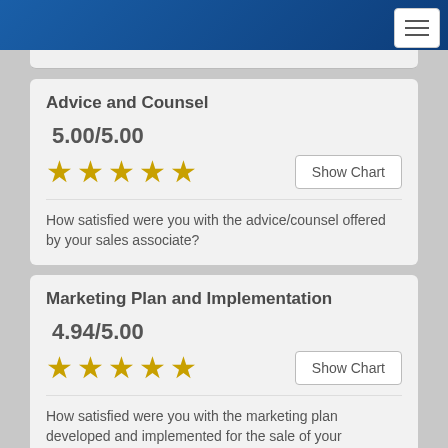Advice and Counsel
5.00/5.00
★★★★★
How satisfied were you with the advice/counsel offered by your sales associate?
Marketing Plan and Implementation
4.94/5.00
★★★★★
How satisfied were you with the marketing plan developed and implemented for the sale of your